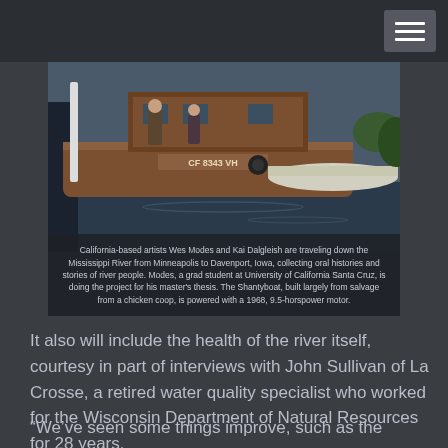[Figure (photo): Photograph of a shantyboat on a river with a canoe alongside it. Two people are visible standing on the wooden boat deck. The boat has a registration number CF 8343 VH. A white canoe is tied alongside. The boat appears handmade from salvage materials.]
California-based artists Wes Modes and Kai Dalgleish are traveling down the Mississippi River from Minneapolis to Davenport, Iowa, collecting oral histories and stories of river people. Modes, a grad student at University of California Santa Cruz, is doing the project for his master’s thesis. The Shantyboat, built largely from salvage from a chicken coop, is powered with a 1968, 9.5-horspower motor.
It also will include the health of the river itself, courtesy in part of interviews with John Sullivan of La Crosse, a retired water quality specialist who worked for the Wisconsin Department of Natural Resources for 28 years.
“We’ve seen some things improve, such as the